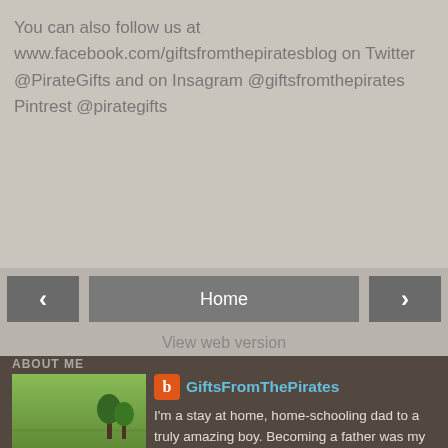You can also follow us at www.facebook.com/giftsfromthepiratesblog on Twitter @PirateGifts and on Insagram @giftsfromthepirates Pintrest @pirategifts
[Figure (screenshot): Navigation bar with left arrow button, Home button, and right arrow button]
View web version
ABOUT ME
[Figure (photo): Children riding bikes/balance bikes on a green field]
GiftsFromThePirates
I'm a stay at home, home-schooling dad to a truly amazing boy. Becoming a father was my defining moment and it completely turned my world around. Since that day I have embraced every moment I can with him while navigating through this new life of recently becoming a single parent.
View my complete profile
Powered by Blogger.